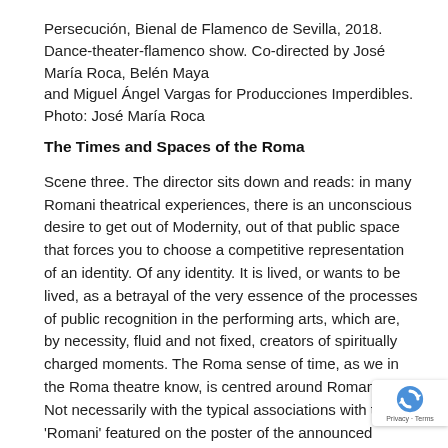Persecución, Bienal de Flamenco de Sevilla, 2018. Dance-theater-flamenco show. Co-directed by José María Roca, Belén Maya and Miguel Ángel Vargas for Producciones Imperdibles. Photo: José María Roca
The Times and Spaces of the Roma
Scene three. The director sits down and reads: in many Romani theatrical experiences, there is an unconscious desire to get out of Modernity, out of that public space that forces you to choose a competitive representation of an identity. Of any identity. It is lived, or wants to be lived, as a betrayal of the very essence of the processes of public recognition in the performing arts, which are, by necessity, fluid and not fixed, creators of spiritually charged moments. The Roma sense of time, as we in the Roma theatre know, is centred around Romani spac… Not necessarily with the typical associations with t… word 'Romani' featured on the poster of the announced